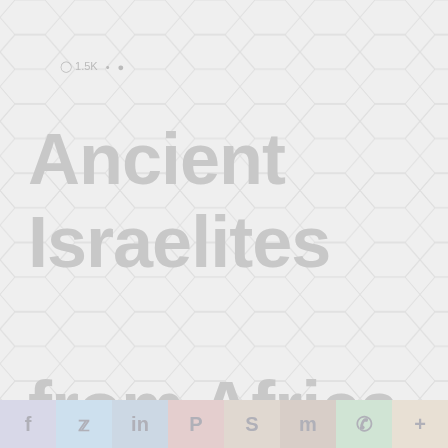[Figure (illustration): Light grey hexagonal/isometric grid pattern background covering the full page]
Ancient Israelites from Africa & Slave trade a
[Figure (infographic): Social media sharing bar at the bottom with icons: f (Facebook), bird (Twitter), in (LinkedIn), P (Pinterest), S (Reddit), M (Mix), phone (WhatsApp), + (More)]